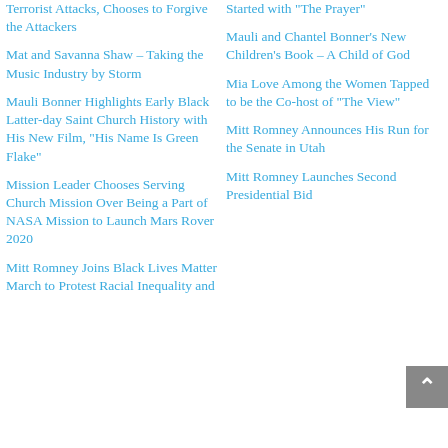Terrorist Attacks, Chooses to Forgive the Attackers
Started with “The Prayer”
Mat and Savanna Shaw – Taking the Music Industry by Storm
Mauli and Chantel Bonner’s New Children’s Book – A Child of God
Mauli Bonner Highlights Early Black Latter-day Saint Church History with His New Film, “His Name Is Green Flake”
Mia Love Among the Women Tapped to be the Co-host of “The View”
Mission Leader Chooses Serving Church Mission Over Being a Part of NASA Mission to Launch Mars Rover 2020
Mitt Romney Announces His Run for the Senate in Utah
Mitt Romney Joins Black Lives Matter March to Protest Racial Inequality and
Mitt Romney Launches Second Presidential Bid